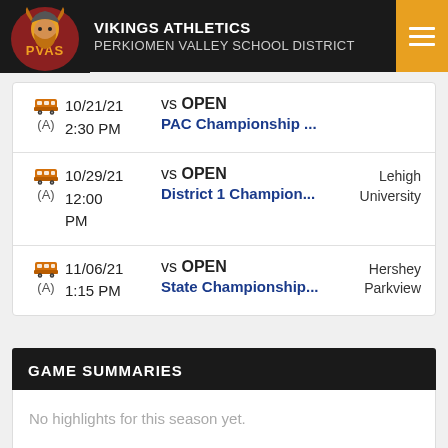VIKINGS ATHLETICS PERKIOMEN VALLEY SCHOOL DISTRICT
| Icon/Away | Date/Time | Event | Location |
| --- | --- | --- | --- |
| Bus (A) | 10/21/21 2:30 PM | vs OPEN PAC Championship ... |  |
| Bus (A) | 10/29/21 12:00 PM | vs OPEN District 1 Champion... | Lehigh University |
| Bus (A) | 11/06/21 1:15 PM | vs OPEN State Championship... | Hershey Parkview |
GAME SUMMARIES
No highlights for this season yet.